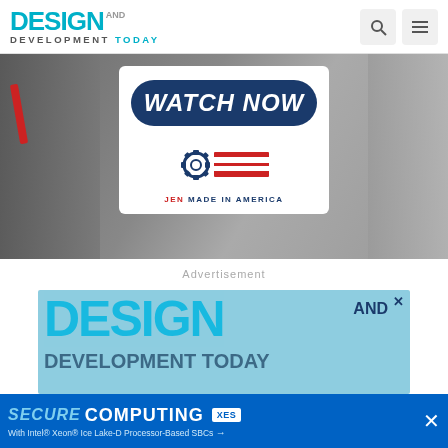DESIGN AND DEVELOPMENT TODAY
[Figure (screenshot): Banner image showing industrial metal parts with a 'WATCH NOW' promotional card overlay featuring a gear/flag logo and 'JEN MADE IN AMERICA' text]
Advertisement
[Figure (screenshot): Design and Development Today magazine advertisement banner with large cyan DESIGN text and navy AND DEVELOPMENT TODAY text]
[Figure (screenshot): Bottom sticky banner ad: SECURE COMPUTING With Intel® Xeon® Ice Lake-D Processor-Based SBCs, XES logo]